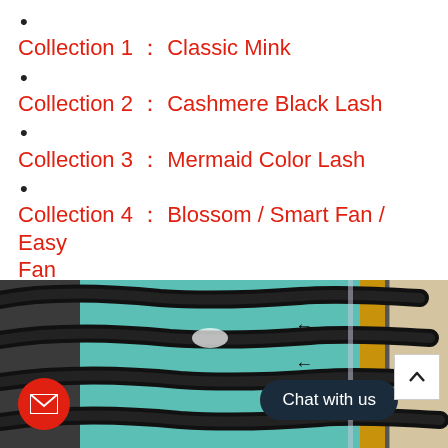Collection 1 :  Classic Mink
Collection 2 :  Cashmere Black Lash
Collection 3 :  Mermaid Color Lash
Collection 4 :  Blossom / Smart Fan / Easy Fan
[Figure (photo): Close-up photo of black eyelash extensions arranged in rows on a teal/mint green surface, with a golden/yellow object partially visible on the right side. A small light reflection is visible. Arrows pointing left are visible on the teal background.]